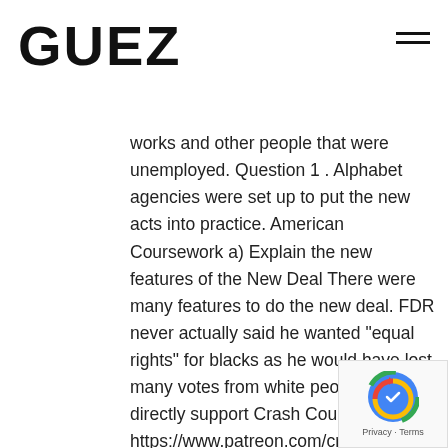GUEZ
works and other people that were unemployed. Question 1 . Alphabet agencies were set up to put the new acts into practice. American Coursework a) Explain the new features of the New Deal There were many features to do the new deal. FDR never actually said he wanted "equal rights" for blacks as he would have lost many votes from white people. You can directly support Crash Course at https://www.patreon.com/crashcourse Subscribe for as little as $0 to keep up with everything we're doing. Read our guide, together with our How to handle competency-based interview questions tips, and double your chance of interview success. Multiple Choice. The weaker sections of